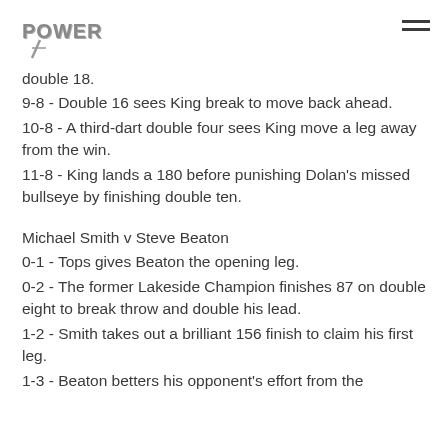PDC Power logo and navigation menu
double 18.
9-8 - Double 16 sees King break to move back ahead.
10-8 - A third-dart double four sees King move a leg away from the win.
11-8 - King lands a 180 before punishing Dolan's missed bullseye by finishing double ten.
Michael Smith v Steve Beaton
0-1 - Tops gives Beaton the opening leg.
0-2 - The former Lakeside Champion finishes 87 on double eight to break throw and double his lead.
1-2 - Smith takes out a brilliant 156 finish to claim his first leg.
1-3 - Beaton betters his opponent's effort from the